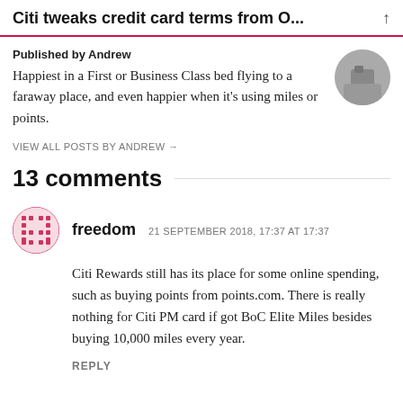Citi tweaks credit card terms from O...
Published by Andrew
Happiest in a First or Business Class bed flying to a faraway place, and even happier when it's using miles or points.
VIEW ALL POSTS BY ANDREW →
13 comments
freedom   21 SEPTEMBER 2018, 17:37 AT 17:37
Citi Rewards still has its place for some online spending, such as buying points from points.com. There is really nothing for Citi PM card if got BoC Elite Miles besides buying 10,000 miles every year.
REPLY